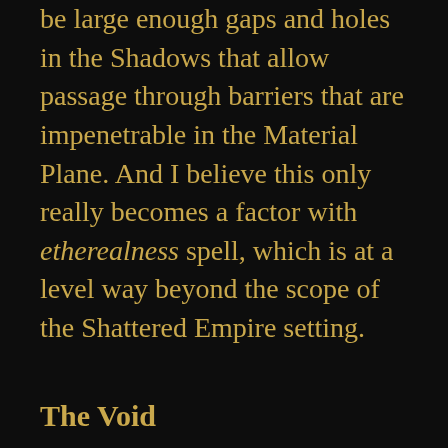be large enough gaps and holes in the Shadows that allow passage through barriers that are impenetrable in the Material Plane. And I believe this only really becomes a factor with etherealness spell, which is at a level way beyond the scope of the Shattered Empire setting.
The Void
The Ethereal Plane also happens to be divided into the Border Ethereal, from where you can see into the Material Plane, and the Deep Ethereal, which is just a vast void of nothingness. This actually corresponds very well with the concept that you can travel